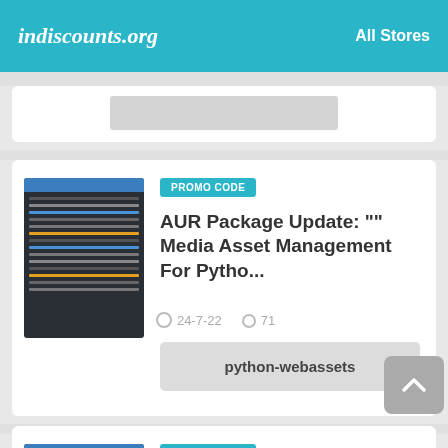indiscounts.org   All Stores
[Figure (screenshot): Partial card with gray image placeholder at top]
PROMO CODE
AUR Package Update: "" Media Asset Management For Pytho...
24-7-22   71
python-webassets
PROMO CODE
AUR Package Update: "" Monospaced Font With...
24-7-22   98